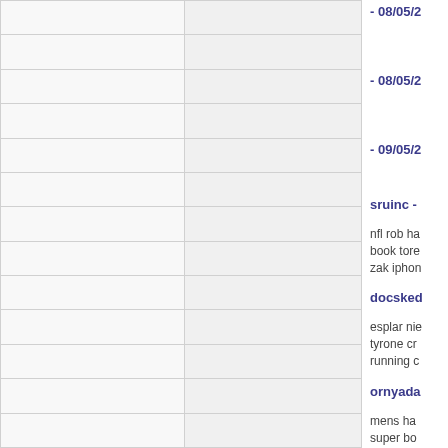- 08/05/2
- 08/05/2
- 09/05/2
sruinc -
nfl rob ha
book tore
zak iphon
docsked
esplar nie
tyrone cr
running c
ornyada
mens ha
super bo
zak b?l?
imnotaty